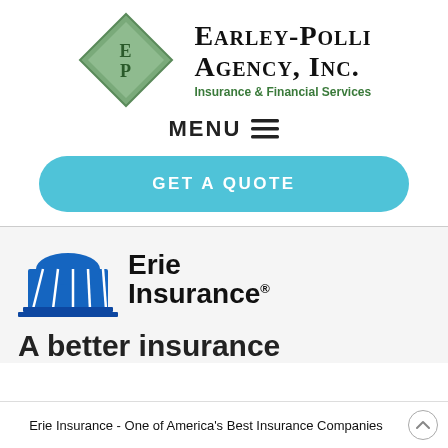[Figure (logo): Earley-Polli Agency, Inc. logo with green diamond EP icon and agency name text]
MENU ☰
GET A QUOTE
[Figure (logo): Erie Insurance logo with blue building icon and Erie Insurance text]
A better insurance
Erie Insurance - One of America's Best Insurance Companies